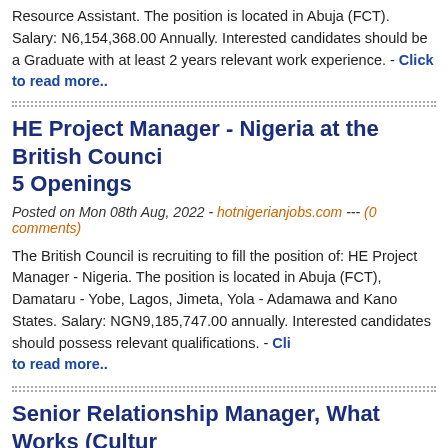Resource Assistant. The position is located in Abuja (FCT). Salary: N6,154,368.00 Annually. Interested candidates should be a Graduate with at least 2 years relevant work experience. - Click to read more..
HE Project Manager - Nigeria at the British Council - 5 Openings
Posted on Mon 08th Aug, 2022 - hotnigerianjobs.com --- (0 comments)
The British Council is recruiting to fill the position of: HE Project Manager - Nigeria. The position is located in Abuja (FCT), Damataru - Yobe, Lagos, Jimeta, Yola - Adamawa and Kano States. Salary: NGN9,185,747.00 annually. Interested candidates should possess relevant qualifications. - Click to read more..
Senior Relationship Manager, What Works (Cultural Heritage) at the British Council
Posted on Wed 03rd Aug, 2022 - hotnigerianjobs.com --- (0 comments)